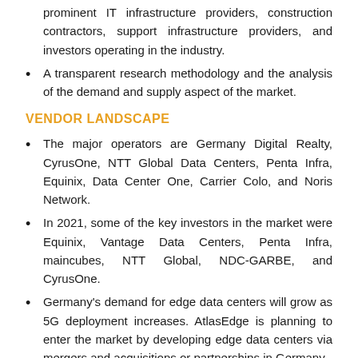prominent IT infrastructure providers, construction contractors, support infrastructure providers, and investors operating in the industry.
A transparent research methodology and the analysis of the demand and supply aspect of the market.
VENDOR LANDSCAPE
The major operators are Germany Digital Realty, CyrusOne, NTT Global Data Centers, Penta Infra, Equinix, Data Center One, Carrier Colo, and Noris Network.
In 2021, some of the key investors in the market were Equinix, Vantage Data Centers, Penta Infra, maincubes, NTT Global, NDC-GARBE, and CyrusOne.
Germany's demand for edge data centers will grow as 5G deployment increases. AtlasEdge is planning to enter the market by developing edge data centers via mergers and acquisitions or partnerships in Germany.